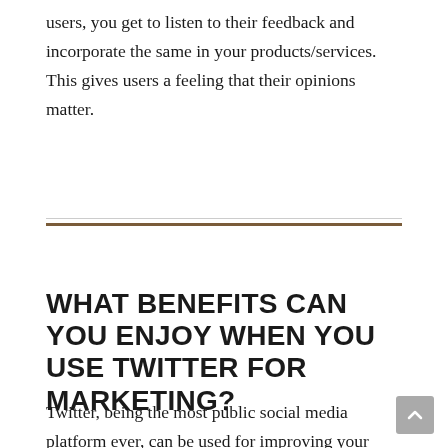users, you get to listen to their feedback and incorporate the same in your products/services. This gives users a feeling that their opinions matter.
WHAT BENEFITS CAN YOU ENJOY WHEN YOU USE TWITTER FOR MARKETING?
Twitter, being the most public social media platform ever, can be used for improving your